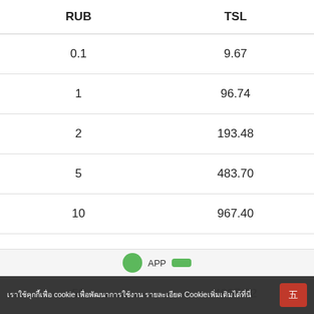| RUB | TSL |
| --- | --- |
| 0.1 | 9.67 |
| 1 | 96.74 |
| 2 | 193.48 |
| 5 | 483.70 |
| 10 | 967.40 |
| 20 | 1934.81 |
| 50 | 4837.02 |
| 100 | 9674.04 |
เราใช้คุกกี้เพื่อ cookie เพื่อพัฒนาการใช้งาน รายละเอียด Cookieเพิ่มเติมได้ที่นี่